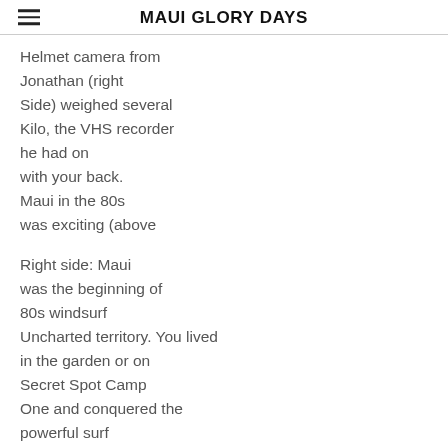MAUI GLORY DAYS
Helmet camera from Jonathan (right Side) weighed several Kilo, the VHS recorder he had on with your back. Maui in the 80s was exciting (above
Right side: Maui was the beginning of 80s windsurf Uncharted territory. You lived in the garden or on Secret Spot Camp One and conquered the powerful surf